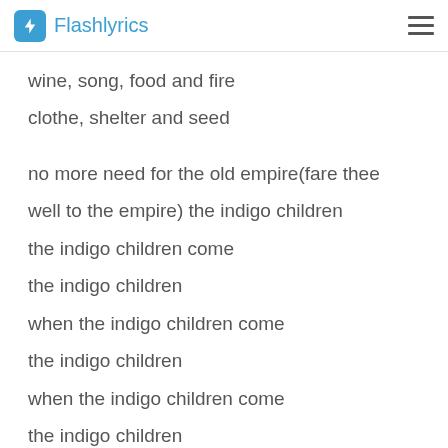Flashlyrics
wine, song, food and fire
cloth, shelter and seed
no more need for the old empire(fare thee well to the empire) the indigo children
the indigo children come
the indigo children
when the indigo children come
the indigo children
when the indigo children come
the indigo children
when the indigo children come